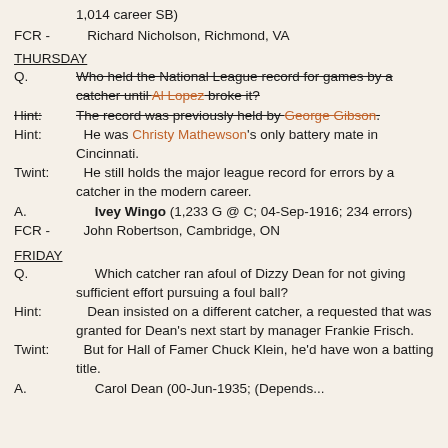1,014 career SB)
FCR -    Richard Nicholson, Richmond, VA
THURSDAY
Q.        Who held the National League record for games by a catcher until Al Lopez broke it?
Hint:    The record was previously held by George Gibson.
Hint:     He was Christy Mathewson's only battery mate in Cincinnati.
Twint:    He still holds the major league record for errors by a catcher in the modern career.
A.         Ivey Wingo (1,233 G @ C; 04-Sep-1916; 234 errors)
FCR -    John Robertson, Cambridge, ON
FRIDAY
Q.         Which catcher ran afoul of Dizzy Dean for not giving sufficient effort pursuing a foul ball?
Hint:     Dean insisted on a different catcher, a requested that was granted for Dean's next start by manager Frankie Frisch.
Twint:    But for Hall of Famer Chuck Klein, he'd have won a batting title.
A.         Carol Dean (00-Jun-1935; (Depends...